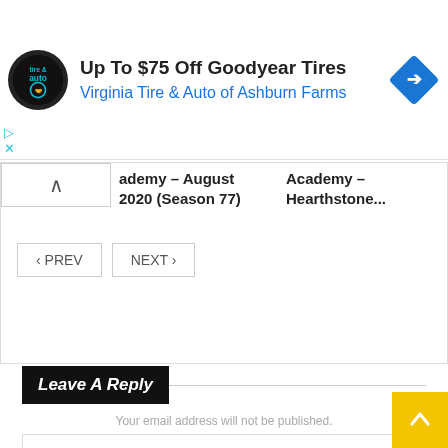[Figure (other): Advertisement banner: Virginia Tire & Auto logo (circular black badge), text 'Up To $75 Off Goodyear Tires' and 'Virginia Tire & Auto of Ashburn Farms' in blue, with a blue diamond road sign icon on right. Play and close controls at bottom left.]
ademy – August 2020 (Season 77)
Academy – Hearthstone...
‹ PREV
NEXT ›
Leave A Reply
Your email address will not be published.
Your Comment